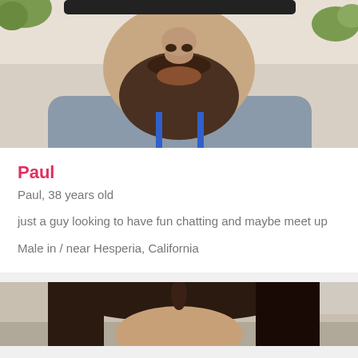[Figure (photo): Close-up photo of a man with a beard and mustache, wearing a gray hoodie with a blue lanyard, outdoors with greenery visible in the background.]
Paul
Paul, 38 years old
just a guy looking to have fun chatting and maybe meet up
Male in / near Hesperia, California
[Figure (photo): Partial photo of a woman with long dark hair, sitting in a car, partially visible at the bottom of the page.]